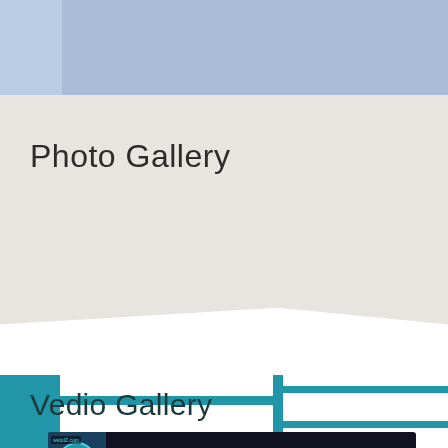[Figure (map): Partial map view with blue water/sky area and faint map lines, light blue background]
Photo Gallery
[Figure (other): Grid of white rectangular image placeholders in two columns under Photo Gallery heading]
Vedio Gallery
[Figure (screenshot): Video thumbnail showing Unawatuna Beach 2009 title with dark background and webz.com logo]